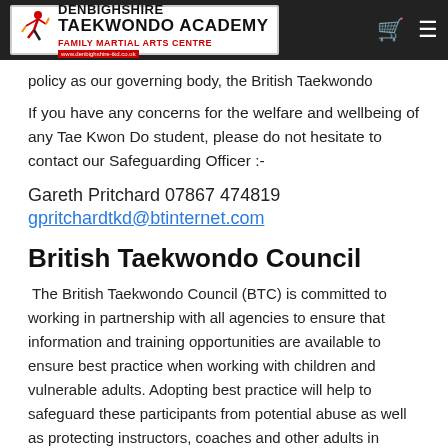[Figure (logo): Denbighshire Taekwondo Academy - Family Martial Arts Centre logo with kicking figure]
policy as our governing body, the British Taekwondo Council (BTC) has adopted as their policy.
If you have any concerns for the welfare and wellbeing of any Tae Kwon Do student, please do not hesitate to contact our Safeguarding Officer :-
Gareth Pritchard 07867 474819
gpritchardtkd@btinternet.com
British Taekwondo Council
The British Taekwondo Council (BTC) is committed to working in partnership with all agencies to ensure that information and training opportunities are available to ensure best practice when working with children and vulnerable adults. Adopting best practice will help to safeguard these participants from potential abuse as well as protecting instructors, coaches and other adults in positions of responsibility from potential false allegations.